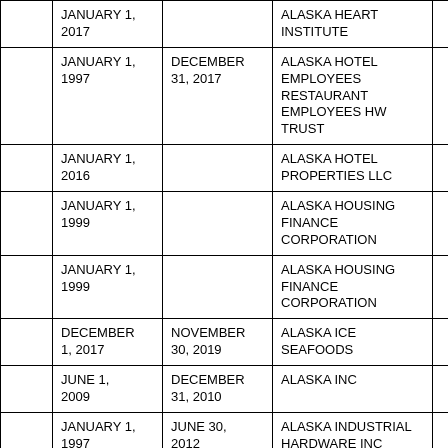|  | Start Date | End Date | Organization |  |
| --- | --- | --- | --- | --- |
|  | JANUARY 1, 2017 |  | ALASKA HEART INSTITUTE |  |
|  | JANUARY 1, 1997 | DECEMBER 31, 2017 | ALASKA HOTEL EMPLOYEES RESTAURANT EMPLOYEES HW TRUST |  |
|  | JANUARY 1, 2016 |  | ALASKA HOTEL PROPERTIES LLC |  |
|  | JANUARY 1, 1999 |  | ALASKA HOUSING FINANCE CORPORATION |  |
|  | JANUARY 1, 1999 |  | ALASKA HOUSING FINANCE CORPORATION |  |
|  | DECEMBER 1, 2017 | NOVEMBER 30, 2019 | ALASKA ICE SEAFOODS |  |
|  | JUNE 1, 2009 | DECEMBER 31, 2010 | ALASKA INC |  |
|  | JANUARY 1, 1997 | JUNE 30, 2012 | ALASKA INDUSTRIAL HARDWARE INC |  |
|  | JANUARY 1, | JUNE 30, | ALASKA INDUSTRIAL |  |